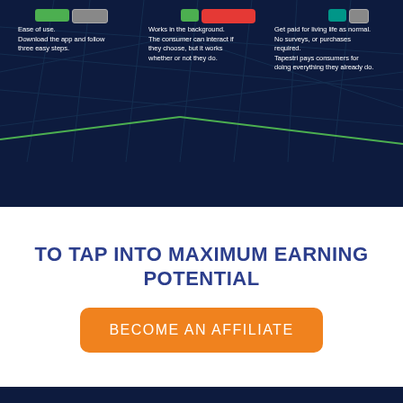[Figure (screenshot): Dark navy background with a map grid pattern showing three columns of white text describing features: 'Ease of use. Download the app and follow three easy steps.', 'Works in the background. The consumer can interact if they choose, but it works whether or not they do.', 'Get paid for living life as normal. No surveys, or purchases required. Tapestri pays consumers for doing everything they already do.' Above each column are colored icon buttons (green, gray, red, teal).]
TO TAP INTO MAXIMUM EARNING POTENTIAL
[Figure (other): Orange rounded rectangle button with white text reading 'BECOME AN AFFILIATE']
[Figure (other): Dark navy footer section with a partial orange circle icon at the bottom]